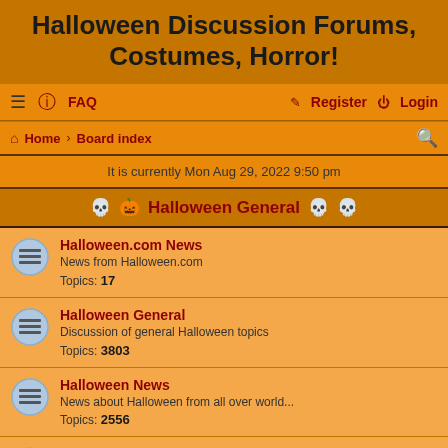Halloween Discussion Forums, Costumes, Horror!
≡  FAQ    Register  Login
Home › Board index
It is currently Mon Aug 29, 2022 9:50 pm
Halloween General
Halloween.com News
News from Halloween.com
Topics: 17
Halloween General
Discussion of general Halloween topics
Topics: 3803
Halloween News
News about Halloween from all over world...
Topics: 2556
Halloween Web Sites
Have a site that others should know about? Feel free to add it here and to our Halloween database.
Topics: 379
Halloween Writing